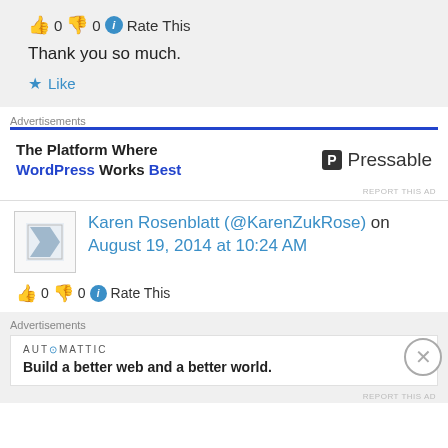[Figure (other): Comment box with thumbs up icon showing 0, thumbs down icon showing 0, info icon, Rate This text]
Thank you so much.
★ Like
Advertisements
[Figure (other): Advertisement: The Platform Where WordPress Works Best - Pressable logo]
REPORT THIS AD
Karen Rosenblatt (@KarenZukRose) on August 19, 2014 at 10:24 AM
[Figure (other): Comment rating row with thumbs up 0, thumbs down 0, info icon, Rate This]
Advertisements
[Figure (other): Advertisement: AUTOMATTIC - Build a better web and a better world.]
REPORT THIS AD